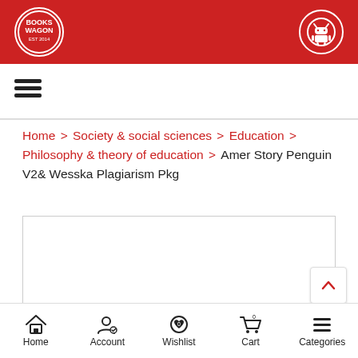Books Wagon
Home > Society & social sciences > Education > Philosophy & theory of education > Amer Story Penguin V2& Wesska Plagiarism Pkg
[Figure (other): Empty product image placeholder box]
Home | Account | Wishlist | Cart | Categories